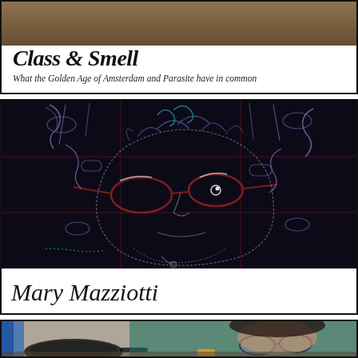Class & Smell
What the Golden Age of Amsterdam and Parasite have in common
[Figure (photo): Dark embroidered textile artwork showing an abstract face created from glasses, straps, and other everyday objects stitched in blue, red, and white thread on a dark navy/black fabric background]
Mary Mazziotti
[Figure (photo): Person in a teal/green shirt wearing glasses, leaning over what appears to be a kitchen or lab workspace with pans and equipment]